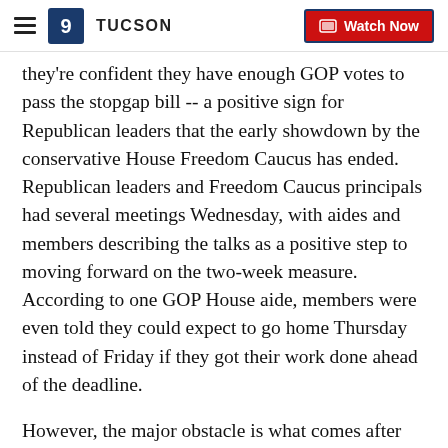KGUN 9 TUCSON | Watch Now
they're confident they have enough GOP votes to pass the stopgap bill -- a positive sign for Republican leaders that the early showdown by the conservative House Freedom Caucus has ended. Republican leaders and Freedom Caucus principals had several meetings Wednesday, with aides and members describing the talks as a positive step to moving forward on the two-week measure. According to one GOP House aide, members were even told they could expect to go home Thursday instead of Friday if they got their work done ahead of the deadline.
However, the major obstacle is what comes after December 22, when the government runs out of money once again.